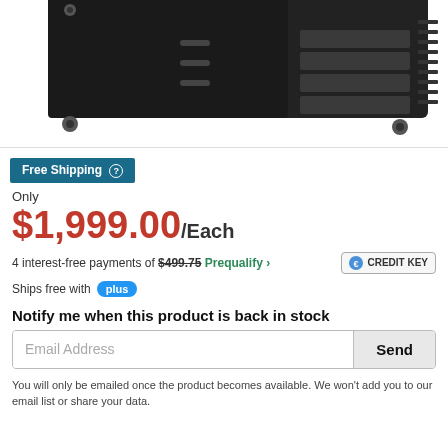[Figure (photo): Partial view of a black tool chest/cabinet on wheels with multiple drawers, shown from a slight angle. Top portion is cut off.]
Free Shipping ?
Only
$1,999.00/Each
4 interest-free payments of $499.75 Prequalify >
Ships free with plus
Notify me when this product is back in stock
Email Address   Send
You will only be emailed once the product becomes available. We won't add you to our email list or share your data.